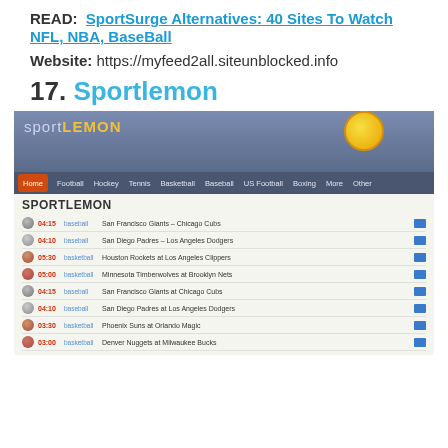READ:  SportSurge Alternatives: 40 Sites To Watch NFL, NBA, BaseBall
Website: https://myfeed2all.siteunblocked.info
17. Sportlemon
[Figure (screenshot): Screenshot of the Sportlemon website showing the homepage with a navigation bar (Home, Football, Hockey, Tennis, Basketball, Baseball, US Football, Boxing, More, Other) and a listing of live sports events including baseball and basketball games with times and TV icons.]